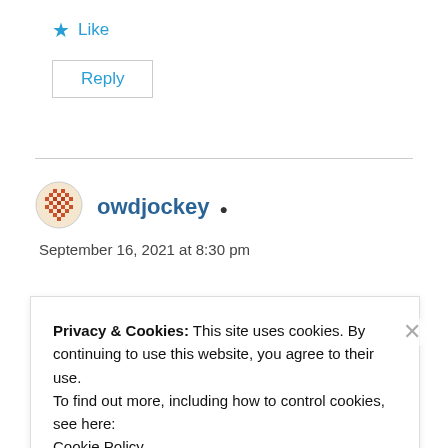★ Like
Reply
owdjockey
September 16, 2021 at 8:30 pm
Privacy & Cookies: This site uses cookies. By continuing to use this website, you agree to their use.
To find out more, including how to control cookies, see here:
Cookie Policy
Close and accept